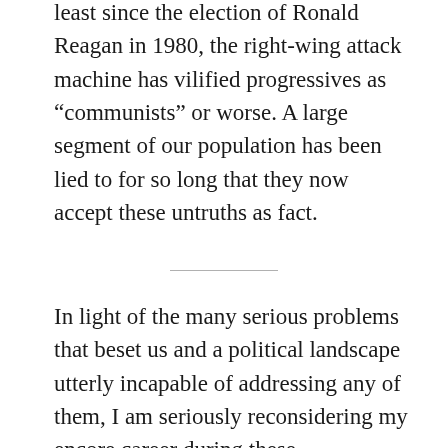least since the election of Ronald Reagan in 1980, the right-wing attack machine has vilified progressives as “communists” or worse. A large segment of our population has been lied to for so long that they now accept these untruths as fact.
In light of the many serious problems that beset us and a political landscape utterly incapable of addressing any of them, I am seriously reconsidering my encore career during these semi-retirement years. I had always assumed that I would spend most of my time and energy continuing what I did in my spare time during my full-time employment